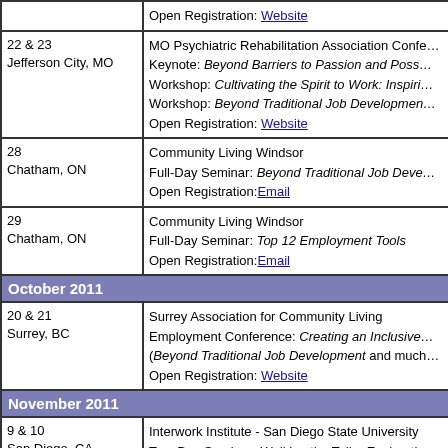| Date/Location | Event |
| --- | --- |
|  | Open Registration: Website |
| 22 & 23
Jefferson City, MO | MO Psychiatric Rehabilitation Association Confe...
Keynote: Beyond Barriers to Passion and Poss...
Workshop: Cultivating the Spirit to Work: Inspiri...
Workshop: Beyond Traditional Job Developmen...
Open Registration: Website |
| 28
Chatham, ON | Community Living Windsor
Full-Day Seminar: Beyond Traditional Job Deve...
Open Registration: Email |
| 29
Chatham, ON | Community Living Windsor
Full-Day Seminar: Top 12 Employment Tools
Open Registration: Email |
| October 2011 |  |
| 20 & 21
Surrey, BC | Surrey Association for Community Living
Employment Conference: Creating an Inclusive...
(Beyond Traditional Job Development and much...
Open Registration: Website |
| November 2011 |  |
| 9 & 10
San Diego, CA | Interwork Institute - San Diego State University
Two-Day Seminar: Walking the Talk - Exploratio...
Wholehearted Work for the Employment Profes... |